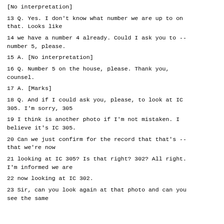[No interpretation]
13 Q. Yes. I don't know what number we are up to on that. Looks like
14 we have a number 4 already. Could I ask you to -- number 5, please.
15 A. [No interpretation]
16 Q. Number 5 on the house, please. Thank you, counsel.
17 A. [Marks]
18 Q. And if I could ask you, please, to look at IC 305. I'm sorry, 305
19 I think is another photo if I'm not mistaken. I believe it's IC 305.
20 Can we just confirm for the record that that's -- that we're now
21 looking at IC 305? Is that right? 302? All right. I'm informed we are
22 now looking at IC 302.
23 Sir, can you look again at that photo and can you see the same